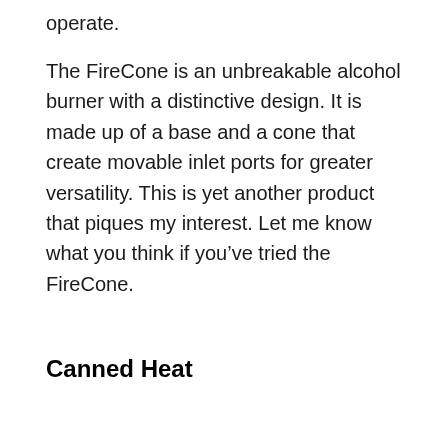operate.
The FireCone is an unbreakable alcohol burner with a distinctive design. It is made up of a base and a cone that create movable inlet ports for greater versatility. This is yet another product that piques my interest. Let me know what you think if you’ve tried the FireCone.
Canned Heat